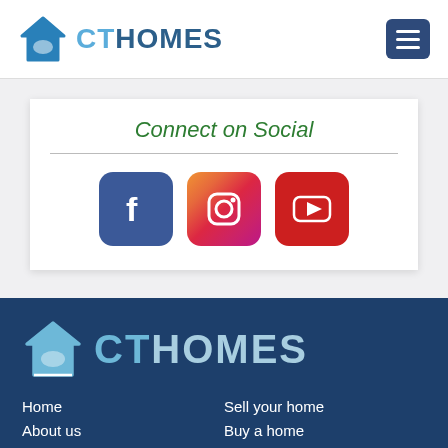[Figure (logo): CT Homes logo with house icon in blue, text CT in light blue and HOMES in dark blue]
[Figure (other): Hamburger menu button, dark blue square with three white horizontal lines]
Connect on Social
[Figure (other): Three social media icons: Facebook (blue), Instagram (gradient), YouTube (red)]
[Figure (logo): CT Homes footer logo, large text with house icon in white/blue tones on dark blue background]
Home
About us
Current Projects
CONTACT US
Sell your home
Buy a home
Blog